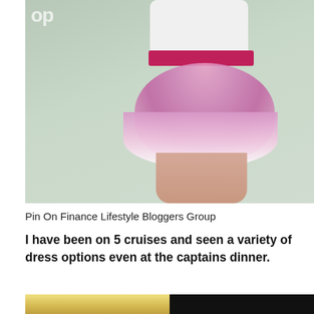[Figure (photo): Photo of a person wearing a white top and pink tutu skirt, shown from waist down, standing against a light gray-green background. Partial watermark text visible in top left corner.]
Pin On Finance Lifestyle Bloggers Group
I have been on 5 cruises and seen a variety of dress options even at the captains dinner.
[Figure (photo): Partial photo showing a person with blonde hair on the left side and a dark/black background on the right side, cropped at bottom of page.]